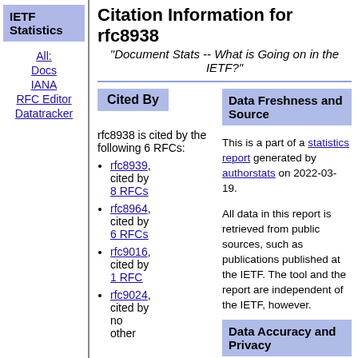IETF Statistics
All:
Docs
IANA
RFC Editor
Datatracker
Citation Information for rfc8938
"Document Stats -- What is Going on in the IETF?"
Cited By
rfc8938 is cited by the following 6 RFCs:
rfc8939, cited by 8 RFCs
rfc8964, cited by 6 RFCs
rfc9016, cited by 1 RFC
rfc9024, cited by no other
Data Freshness and Source
This is a part of a statistics report generated by authorstats on 2022-03-19.
All data in this report is retrieved from public sources, such as publications published at the IETF. The tool and the report are independent of the IETF, however.
Data Accuracy and Privacy